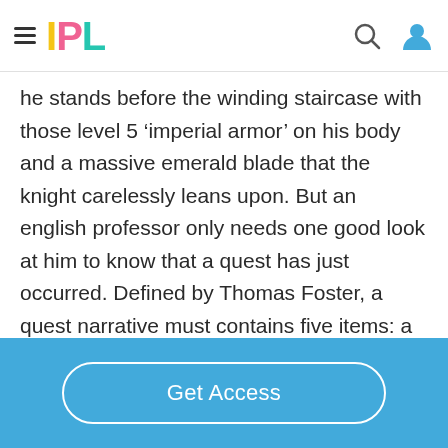IPL
he stands before the winding staircase with those level 5 ‘imperial armor’ on his body and a massive emerald blade that the knight carelessly leans upon. But an english professor only needs one good look at him to know that a quest has just occurred. Defined by Thomas Foster, a quest narrative must contains five items: a quester, a place to go, a
Get Access